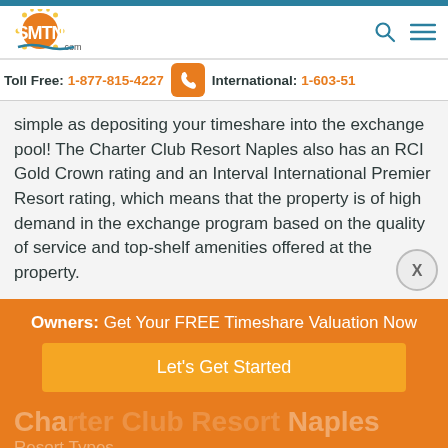SMTN.com
Toll Free: 1-877-815-4227   International: 1-603-51...
simple as depositing your timeshare into the exchange pool! The Charter Club Resort Naples also has an RCI Gold Crown rating and an Interval International Premier Resort rating, which means that the property is of high demand in the exchange program based on the quality of service and top-shelf amenities offered at the property.
Owners: Get Your FREE Timeshare Valuation Now
Let's Get Started
Charter Club Resort Naples
Resort Types